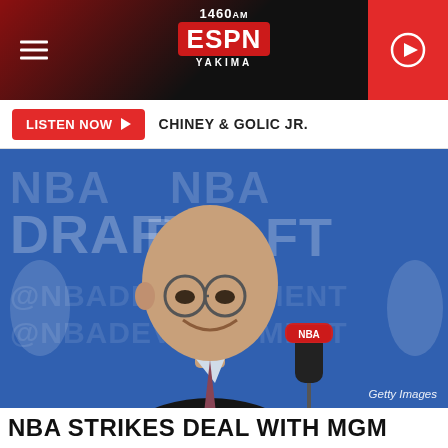1460 ESPN YAKIMA
LISTEN NOW  CHINEY & GOLIC JR.
[Figure (photo): Man in suit and glasses speaking at NBA Draft press conference with blue NBA Draft backdrop and microphone. Text 'Getty Images' in bottom right.]
NBA STRIKES DEAL WITH MGM